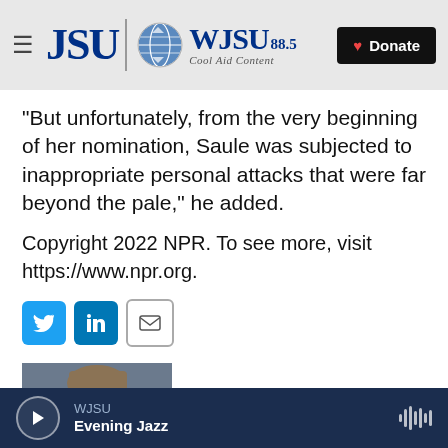JSU | WJSU 88.5 Cool Aid Content — Donate
"But unfortunately, from the very beginning of her nomination, Saule was subjected to inappropriate personal attacks that were far beyond the pale," he added.
Copyright 2022 NPR. To see more, visit https://www.npr.org.
[Figure (other): Social sharing buttons: Twitter (blue), LinkedIn (blue), Email (outline)]
[Figure (photo): Headshot photo of David Gura, a man with glasses]
David Gura
WJSU Evening Jazz